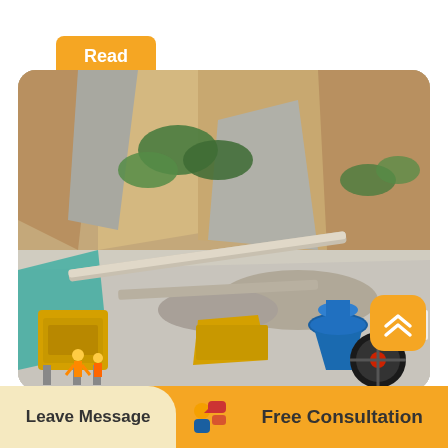Read More
[Figure (photo): Aerial view of a quarry mining site with large rock face cliffs, green vegetation patches, conveyor belts, yellow crushing machinery, blue cone crusher, and workers in safety gear at the bottom left.]
Leave Message
[Figure (illustration): Cartoon icon of a person (engineer/consultant) with speech bubbles, representing free consultation service.]
Free Consultation